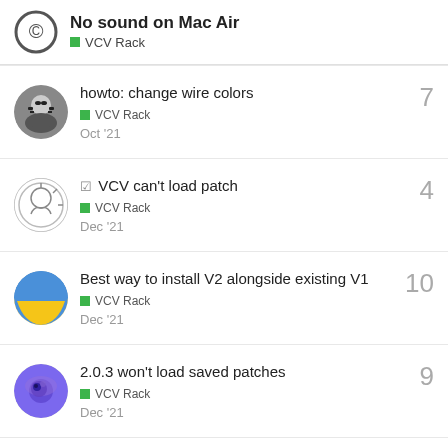No sound on Mac Air — VCV Rack
howto: change wire colors | VCV Rack | 7 | Oct '21
VCV can't load patch | VCV Rack | 4 | Dec '21
Best way to install V2 alongside existing V1 | VCV Rack | 10 | Dec '21
2.0.3 won't load saved patches | VCV Rack | 9 | Dec '21
VCV Rack 2.0 with Ableton maxing out CPU | VCV Rack | 2 | Dec '21
Want to read more? Browse other topics in